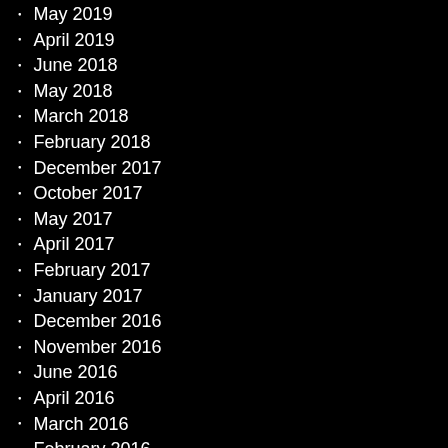May 2019
April 2019
June 2018
May 2018
March 2018
February 2018
December 2017
October 2017
May 2017
April 2017
February 2017
January 2017
December 2016
November 2016
June 2016
April 2016
March 2016
February 2016
January 2016
August 2015
June 2015